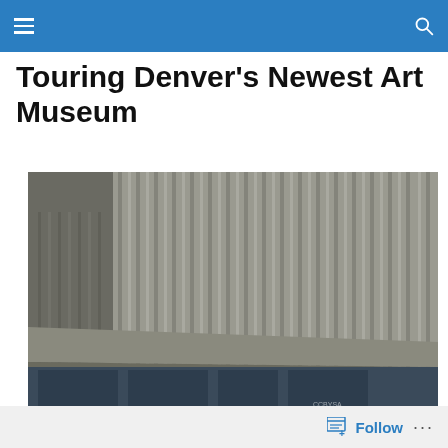Navigation bar with menu and search icons
Touring Denver’s Newest Art Museum
[Figure (photo): Exterior photograph of a modern concrete art museum building with vertical ribbed panels on the facade, shot from a low angle against a clear blue sky. A large cantilevered concrete overhang projects over glass entrance doors.]
Follow ...